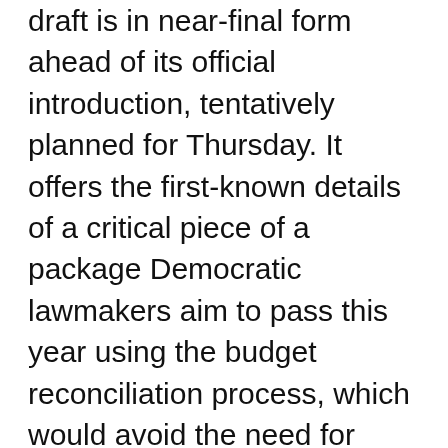draft is in near-final form ahead of its official introduction, tentatively planned for Thursday. It offers the first-known details of a critical piece of a package Democratic lawmakers aim to pass this year using the budget reconciliation process, which would avoid the need for Republican votes in the Senate.
The bill was drafted with the intention of meeting reconciliation rules, but it remains to be seen whether it's actually in compliance, as determined by the Senate parliamentarian. Reconciliation can only be used for provisions with budget effects that are more than just incidental, among other requirements.